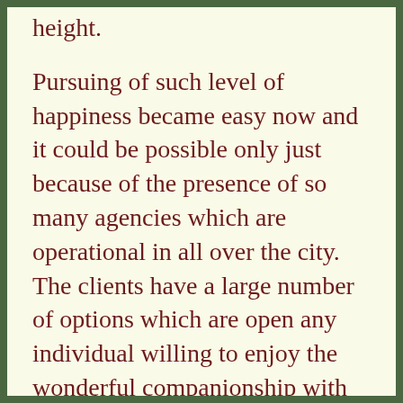height.
Pursuing of such level of happiness became easy now and it could be possible only just because of the presence of so many agencies which are operational in all over the city. The clients have a large number of options which are open any individual willing to enjoy the wonderful companionship with the perfect escort service in Connaught place will be able to choose one from the long list.
Therefore, you must feel sensually